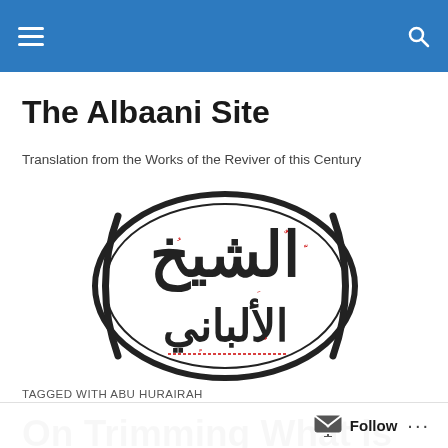Navigation header with hamburger menu and search icon
The Albaani Site
Translation from the Works of the Reviver of this Century
[Figure (logo): Arabic calligraphy logo in black and red ink, circular design with the name Al-Albaani written in traditional Arabic script]
TAGGED WITH ABU HURAIRAH
On Trimming What is ...
Follow